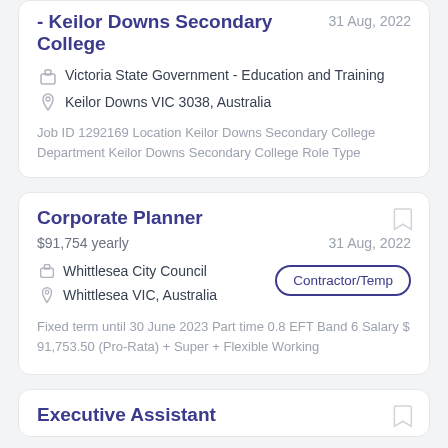- Keilor Downs Secondary College
31 Aug, 2022
Victoria State Government - Education and Training
Keilor Downs VIC 3038, Australia
Job ID 1292169 Location Keilor Downs Secondary College Department Keilor Downs Secondary College Role Type
Corporate Planner
$91,754 yearly
31 Aug, 2022
Whittlesea City Council
Whittlesea VIC, Australia
Contractor/Temp
Fixed term until 30 June 2023 Part time 0.8 EFT Band 6 Salary $ 91,753.50 (Pro-Rata) + Super + Flexible Working
Executive Assistant